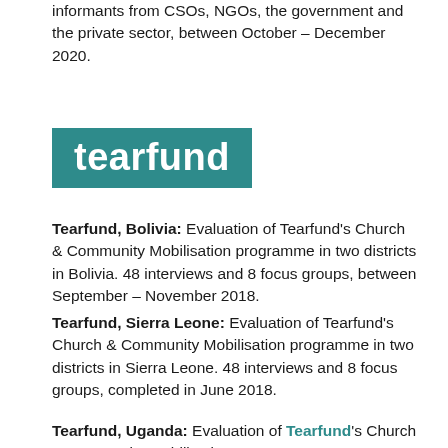informants from CSOs, NGOs, the government and the private sector, between October – December 2020.
[Figure (logo): Tearfund logo — white lowercase 'tearfund' text on teal/dark cyan rectangular background]
Tearfund, Bolivia: Evaluation of Tearfund's Church & Community Mobilisation programme in two districts in Bolivia. 48 interviews and 8 focus groups, between September – November 2018.
Tearfund, Sierra Leone: Evaluation of Tearfund's Church & Community Mobilisation programme in two districts in Sierra Leone. 48 interviews and 8 focus groups, completed in June 2018.
Tearfund, Uganda: Evaluation of Tearfund's Church & Community Mobilisation programme...